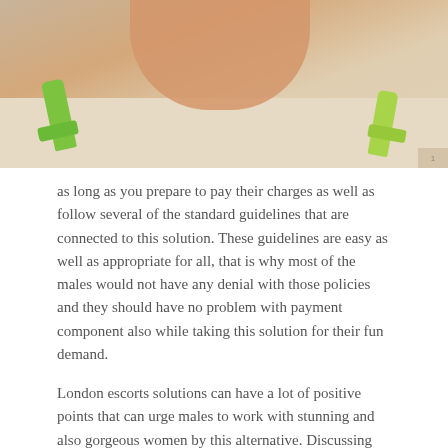[Figure (photo): Cropped photo of a child's feet/legs playing in sand with green plastic toy shovels or tools visible on the sides]
as long as you prepare to pay their charges as well as follow several of the standard guidelines that are connected to this solution. These guidelines are easy as well as appropriate for all, that is why most of the males would not have any denial with those policies and they should have no problem with payment component also while taking this solution for their fun demand.
London escorts solutions can have a lot of positive points that can urge males to work with stunning and also gorgeous women by this alternative. Discussing these good things, to start with, men will not have to stress over the being rejected component because attractive and also stunning London escorts constantly state yes for their friendship hire since they can accept any kind of fun demand.